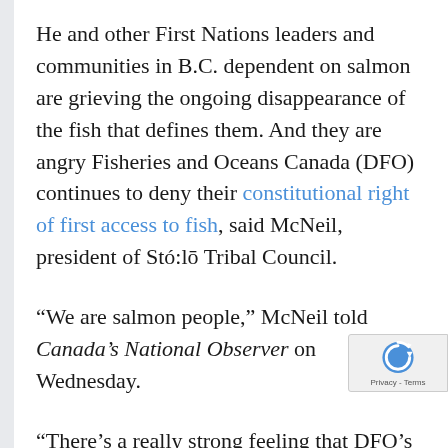He and other First Nations leaders and communities in B.C. dependent on salmon are grieving the ongoing disappearance of the fish that defines them. And they are angry Fisheries and Oceans Canada (DFO) continues to deny their constitutional right of first access to fish, said McNeil, president of Stó:lō Tribal Council.
“We are salmon people,” McNeil told Canada’s National Observer on Wednesday.
“There’s a really strong feeling that DFO’s management of the fishery is preventing us